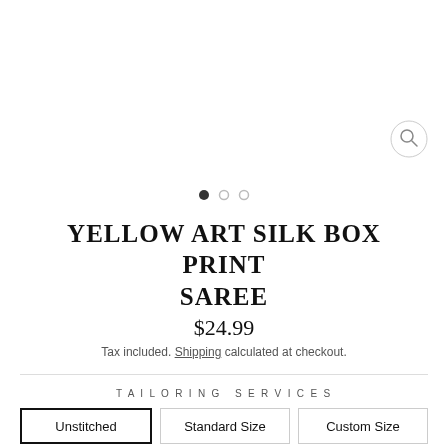[Figure (photo): Product image area (white/blank, saree not visible in this crop)]
YELLOW ART SILK BOX PRINT SAREE
$24.99
Tax included. Shipping calculated at checkout.
TAILORING SERVICES
Unstitched
Standard Size
Custom Size